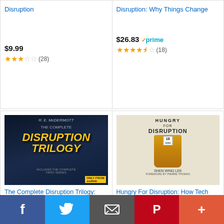Disruption
$9.99
★★★☆☆ (28)
Disruption: Why Things Change
$26.83 ✓prime
★★★★½ (18)
[Figure (photo): Book cover: The Complete Disruption Trilogy by R.E. McDermott, dark cover with gold letter title, Audible exclusive]
The Complete Disruption Trilogy: Books 1 - 3
$25.99 $29.95
★★★★★ (457)
[Figure (photo): Book cover: Hungry For Disruption, light gray cover with corn illustration, by Shen Wing Lee]
Hungry For Disruption: How Tech Innovations Will Nouris...
$17.99 ✓prime
★★★★½ (38)
disruption
Go
Ads by Amazon
[Figure (screenshot): Social sharing bar with Facebook, Twitter, Email, Pinterest, and More buttons]